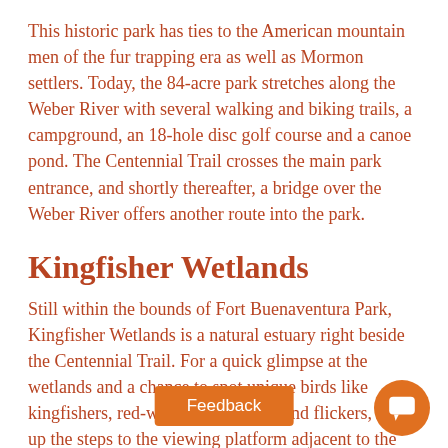This historic park has ties to the American mountain men of the fur trapping era as well as Mormon settlers. Today, the 84-acre park stretches along the Weber River with several walking and biking trails, a campground, an 18-hole disc golf course and a canoe pond. The Centennial Trail crosses the main park entrance, and shortly thereafter, a bridge over the Weber River offers another route into the park.
Kingfisher Wetlands
Still within the bounds of Fort Buenaventura Park, Kingfisher Wetlands is a natural estuary right beside the Centennial Trail. For a quick glimpse at the wetlands and a chance to spot unique birds like kingfishers, red-winged blackbirds and flickers, walk up the steps to the viewing platform adjacent to the trail. A mostly flat, 0.6-mile loop travels around the wetlands and makes for a peaceful